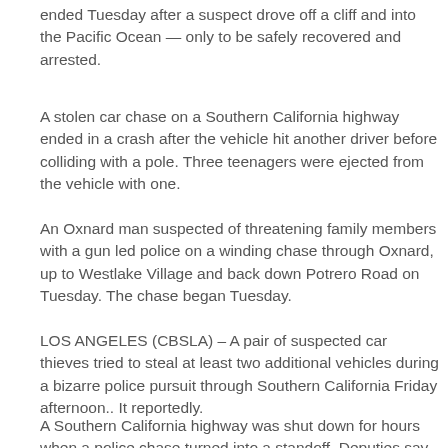ended Tuesday after a suspect drove off a cliff and into the Pacific Ocean — only to be safely recovered and arrested.
A stolen car chase on a Southern California highway ended in a crash after the vehicle hit another driver before colliding with a pole. Three teenagers were ejected from the vehicle with one.
An Oxnard man suspected of threatening family members with a gun led police on a winding chase through Oxnard, up to Westlake Village and back down Potrero Road on Tuesday. The chase began Tuesday.
LOS ANGELES (CBSLA) – A pair of suspected car thieves tried to steal at least two additional vehicles during a bizarre police pursuit through Southern California Friday afternoon.. It reportedly.
A Southern California highway was shut down for hours when a police chase turned into a standoff. Deputies say a